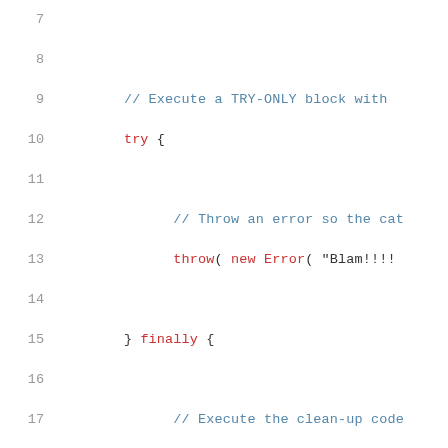Code listing lines 7-23 showing JavaScript try/finally block
7  (empty)
8  (empty)
9      // Execute a TRY-ONLY block with
10     try {
11 (empty)
12         // Throw an error so the cat
13         throw( new Error( "Blam!!!!"
14 (empty)
15     } finally {
16 (empty)
17         // Execute the clean-up code
18         console.log( "Finally!" );
19 (empty)
20     }
21 (empty)
22     // We got past our try/catch.
23     console.log( "Back to safety." );